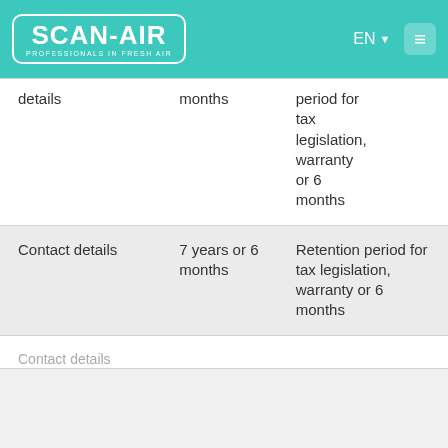SCAN-AIR - PROFESSIONALS IN FRESH AIR | EN | Menu
| Data type | Retention period | Basis |
| --- | --- | --- |
| details | months | period for tax legislation, warranty or 6 months |
| Contact details | 7 years or 6 months | Retention period for tax legislation, warranty or 6 months |
| [partial row cut off] | [partial] | [partial] |